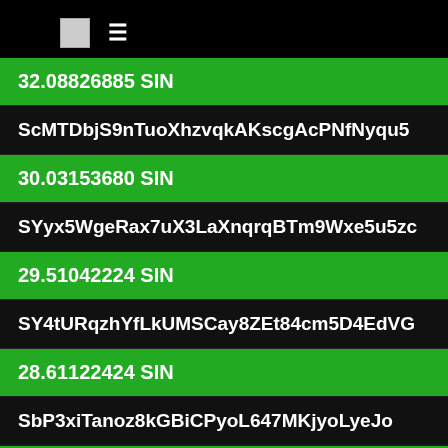≡
32.08826885 SIN
ScMTDbjS9nTuoXhzvqkAKscgAcPNfNyqu5
30.03153680 SIN
SYyx5WgeRax7uX3LaXnqrqBTm9Wxe5u5zc
29.51042224 SIN
SY4tURqzhYfLkUMSCay8ZEt84cm5D4EdVG
28.61122424 SIN
SbP3xiTanoz8kGBiCPyoL647MKjyoLyeJo
28.50346738 SIN
SSJZGJjZq1mdWfzo7SZK7qijSfhRXqp5GT